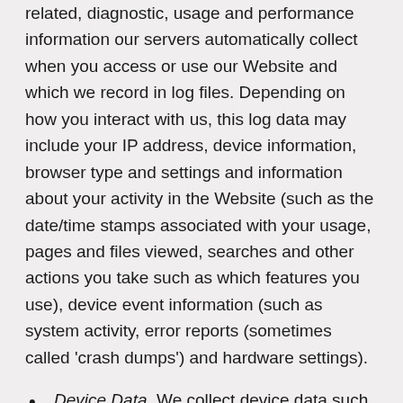related, diagnostic, usage and performance information our servers automatically collect when you access or use our Website and which we record in log files. Depending on how you interact with us, this log data may include your IP address, device information, browser type and settings and information about your activity in the Website (such as the date/time stamps associated with your usage, pages and files viewed, searches and other actions you take such as which features you use), device event information (such as system activity, error reports (sometimes called ‘crash dumps’) and hardware settings).
Device Data. We collect device data such as information about your computer, phone, tablet or other device you use to access the Website. Depending on the device used, this device data may include information such as your IP address (or proxy server), device and application identification numbers, location, browser type, hardware